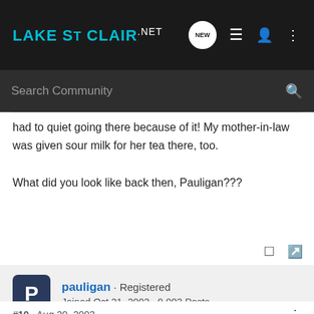LAKE ST CLAIR .NET
Search Community
had to quiet going there because of it! My mother-in-law was given sour milk for her tea there, too.

What did you look like back then, Pauligan???
pauligan · Registered
Joined Oct 21, 2002 · 9,003 Posts
#10 · Aug 20, 2003
QUOTE(threecrabs @ Aug 20 2003, 04:55 PM)QUOTE(pauligan @ Aug 20 2003, 03:08 PM) When I was a